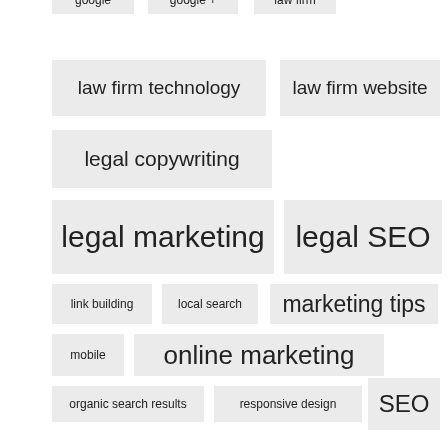google
google +
law firm
law firm technology
law firm website
legal copywriting
legal marketing
legal SEO
link building
local search
marketing tips
mobile
online marketing
organic search results
responsive design
SEO
social media
twitter
website design